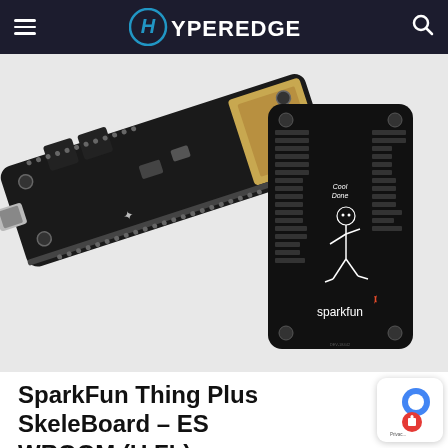HyperEdge
[Figure (photo): SparkFun Thing Plus SkeleBoard ESP32-WROOM microcontroller board photo showing top view of the PCB with USB micro port, components, and ESP32 module, alongside a black SparkFun pinout reference card with a dancing skeleton graphic]
SparkFun Thing Plus SkeleBoard – ESP32 WROOM (U.FL)